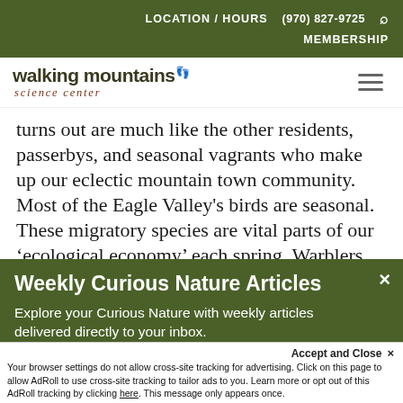LOCATION / HOURS   (970) 827-9725   🔍   MEMBERSHIP
[Figure (logo): Walking Mountains Science Center logo with red footprint icon]
turns out are much like the other residents, passerbys, and seasonal vagrants who make up our eclectic mountain town community. Most of the Eagle Valley's birds are seasonal. These migratory species are vital parts of our 'ecological economy' each spring. Warblers are no exception.
Weekly Curious Nature Articles
Explore your Curious Nature with weekly articles delivered directly to your inbox.
Accept and Close ✕
Your browser settings do not allow cross-site tracking for advertising. Click on this page to allow AdRoll to use cross-site tracking to tailor ads to you. Learn more or opt out of this AdRoll tracking by clicking here. This message only appears once.